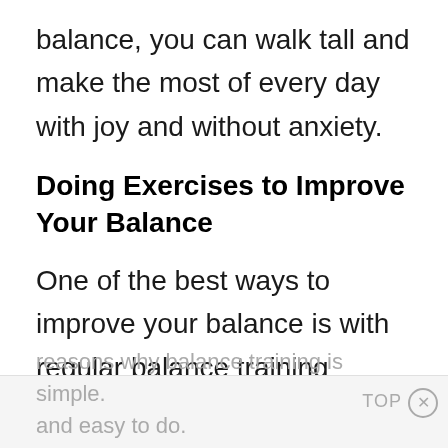balance, you can walk tall and make the most of every day with joy and without anxiety.
Doing Exercises to Improve Your Balance
One of the best ways to improve your balance is with regular balance training exercises. I want to give you the confidence to get started with exercises to improve your balance. Here are the three
reasons why balance training is simple. and easy to do.